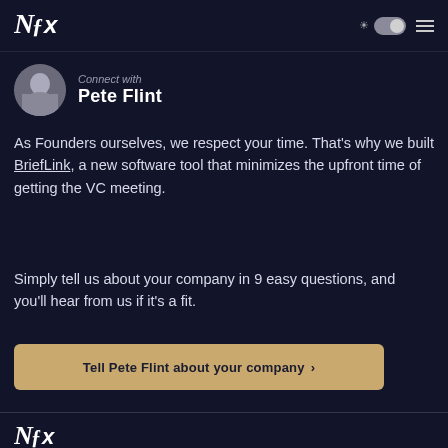NFX logo and navigation bar with toggle and hamburger menu
Connect with Pete Flint
As Founders ourselves, we respect your time. That's why we built BriefLink, a new software tool that minimizes the upfront time of getting the VC meeting.
Simply tell us about your company in 9 easy questions, and you'll hear from us if it's a fit.
Tell Pete Flint about your company >
NFX logo